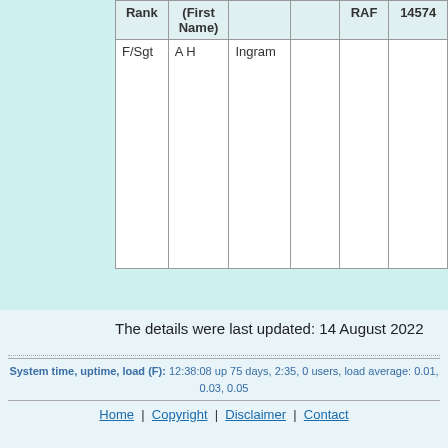| Rank | First Name
(Name) | Last
Name | Notes | Service | Service
Number |
| --- | --- | --- | --- | --- | --- |
| F/Sgt | A H | Ingram |  | RAF | 14574 |
The details were last updated: 14 August 2022
System time, uptime, load (F): 12:38:08 up 75 days, 2:35, 0 users, load average: 0.01, 0.03, 0.05
Home | Copyright | Disclaimer | Contact